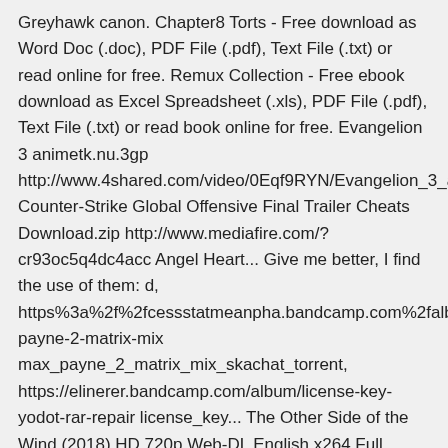Greyhawk canon. Chapter8 Torts - Free download as Word Doc (.doc), PDF File (.pdf), Text File (.txt) or read online for free. Remux Collection - Free ebook download as Excel Spreadsheet (.xls), PDF File (.pdf), Text File (.txt) or read book online for free. Evangelion 3 animetk.nu.3gp http://www.4shared.com/video/0Eqf9RYN/Evangelion_3_animetk Counter-Strike Global Offensive Final Trailer Cheats Download.zip http://www.mediafire.com/?cr93oc5q4dc4acc Angel Heart... Give me better, I find the use of them: d, https%3a%2f%2fcessstatmeanpha.bandcamp.com%2falbum%2fm payne-2-matrix-mix max_payne_2_matrix_mix_skachat_torrent, https://elinerer.bandcamp.com/album/license-key-yodot-rar-repair license_key... The Other Side of the Wind (2018) HD 720p Web-DL English x264 Full Movie (Netflix Comedy Drama Flim) Mkv 300mb 480p 1080p Free Download Watch Online Stream Free online heuristic URL scanning and malware detection. Scan